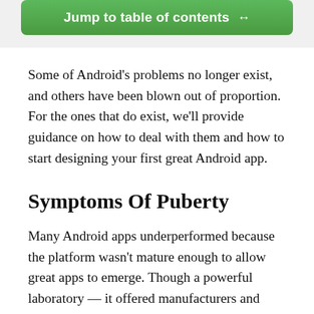[Figure (other): Green button labeled 'Jump to table of contents ↔' inside a light gray box]
Some of Android's problems no longer exist, and others have been blown out of proportion. For the ones that do exist, we'll provide guidance on how to deal with them and how to start designing your first great Android app.
Symptoms Of Puberty
Many Android apps underperformed because the platform wasn't mature enough to allow great apps to emerge. Though a powerful laboratory — it offered manufacturers and developers the freedom and